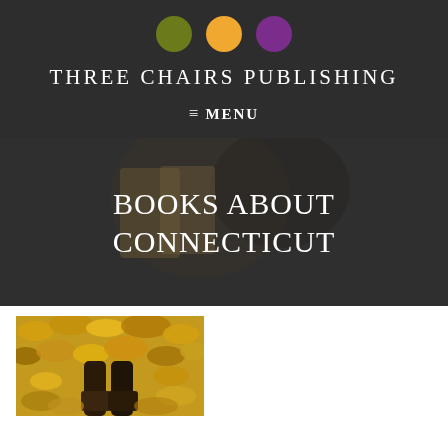[Figure (logo): Three colored circles logo: olive green, orange, and purple]
THREE CHAIRS PUBLISHING
≡ MENU
[Figure (photo): Hero image showing person reading a book with autumn flowers, semi-transparent dark overlay, with text 'BOOKS ABOUT CONNECTICUT']
[Figure (photo): Photo of boots/feet standing in colorful autumn fallen leaves (yellow, orange, green)]